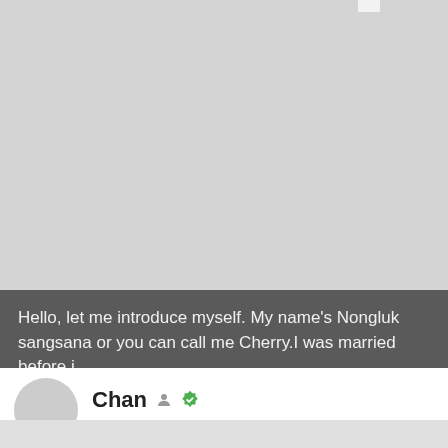[Figure (map): Light grey map background, mostly empty, with a small white rectangle element near top right corner.]
Hello, let me introduce myself. My name's Nongluk sangsana or you can call me Cherry.I was married before.i...
[Figure (photo): Circular grey avatar placeholder for user Chan.]
Chan 33 • Pathum Rat, Roi Et, Thailand